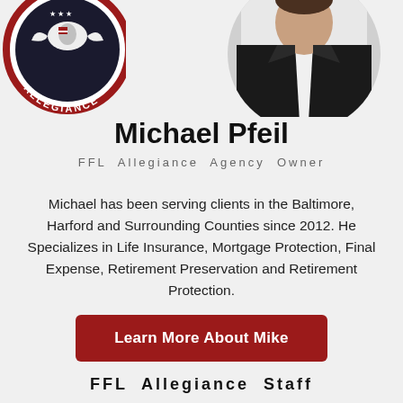[Figure (logo): FFL Allegiance circular logo with eagle and American flag, partially cropped at top-left]
[Figure (photo): Circular portrait photo of Michael Pfeil, a man in a dark suit, partially cropped at top-right]
Michael Pfeil
FFL Allegiance Agency Owner
Michael has been serving clients in the Baltimore, Harford and Surrounding Counties since 2012. He Specializes in Life Insurance, Mortgage Protection, Final Expense, Retirement Preservation and Retirement Protection.
Learn More About Mike
FFL Allegiance Staff